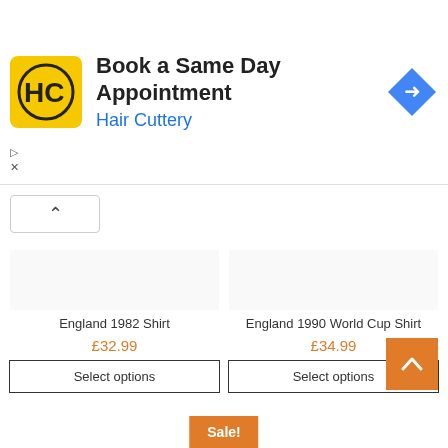[Figure (screenshot): Hair Cuttery advertisement banner with yellow HC logo, text 'Book a Same Day Appointment' and 'Hair Cuttery', and a blue diamond arrow icon on the right]
England 1982 Shirt
£32.99
Select options
England 1990 World Cup Shirt
£34.99
Select options
Sale!